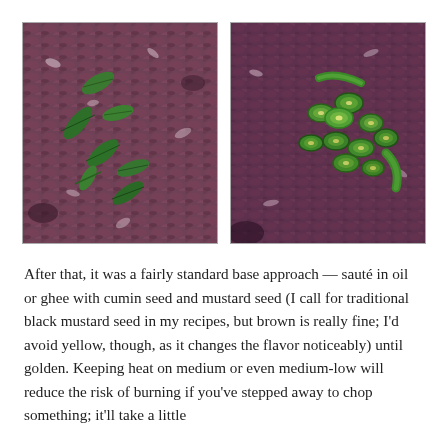[Figure (photo): Two side-by-side food preparation photos. Left: chopped red onion base with green curry leaves scattered on top. Right: chopped red onion base with sliced green chili peppers piled in the center.]
After that, it was a fairly standard base approach — sauté in oil or ghee with cumin seed and mustard seed (I call for traditional black mustard seed in my recipes, but brown is really fine; I'd avoid yellow, though, as it changes the flavor noticeably) until golden. Keeping heat on medium or even medium-low will reduce the risk of burning if you've stepped away to chop something; it'll take a little